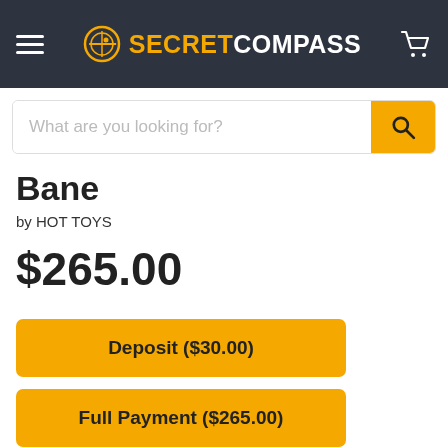SECRET COMPASS
What are you looking for?
Bane
by HOT TOYS
$265.00
Deposit ($30.00)
Full Payment ($265.00)
Payment Plan (from $39.16/mo)